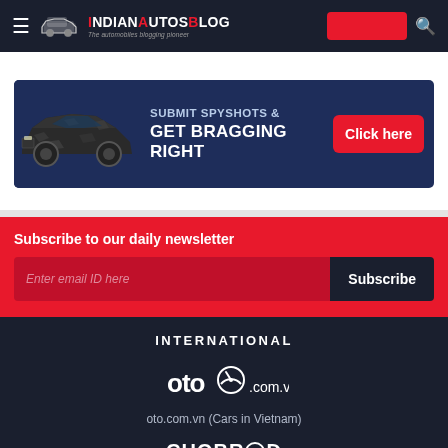IndianAutosBlog — The automobiles blogging pioneer
[Figure (infographic): Ad banner: car photo on blue background with text 'SUBMIT SPYSHOTS & GET BRAGGING RIGHT' and red 'Click here' button]
Subscribe to our daily newsletter
Enter email ID here
Subscribe
INTERNATIONAL
[Figure (logo): oto.com.vn logo]
oto.com.vn (Cars in Vietnam)
CHOBROD